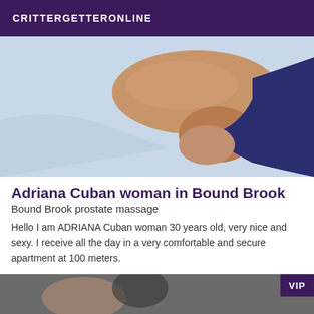CRITTERGETTERONLINE
[Figure (photo): Close-up photo of a person's arm and leg resting on a light blue surface with dark blue fabric visible]
Adriana Cuban woman in Bound Brook
Bound Brook prostate massage
Hello I am ADRIANA Cuban woman 30 years old, very nice and sexy. I receive all the day in a very comfortable and secure apartment at 100 meters.
[Figure (photo): Partial photo of a person with a VIP badge overlay in the bottom right corner]